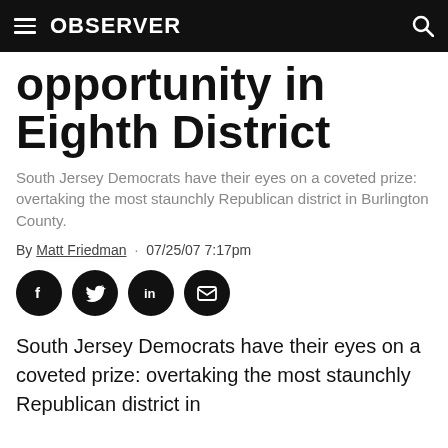OBSERVER
opportunity in Eighth District
South Jersey Democrats have their eyes on a coveted prize: overtaking the most staunchly Republican district in Burlington County.
By Matt Friedman · 07/25/07 7:17pm
[Figure (infographic): Social sharing icons: Facebook, Twitter, LinkedIn, Email]
South Jersey Democrats have their eyes on a coveted prize: overtaking the most staunchly Republican district in